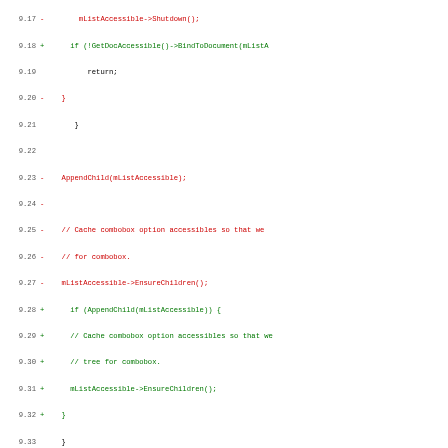[Figure (screenshot): Code diff showing changes to nsHTMLComboboxAccessible and nsHTMLTextAccessible.cpp files, with line numbers, removed lines in red, added lines in green, and unchanged lines in black monospace font.]